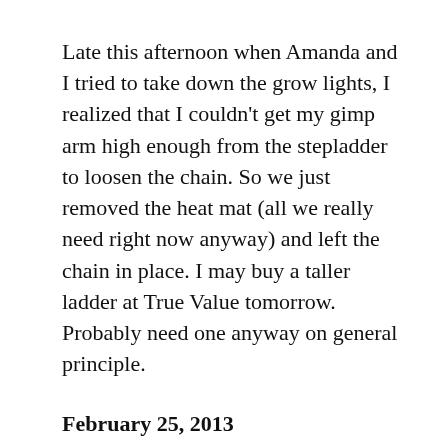Late this afternoon when Amanda and I tried to take down the grow lights, I realized that I couldn't get my gimp arm high enough from the stepladder to loosen the chain. So we just removed the heat mat (all we really need right now anyway) and left the chain in place. I may buy a taller ladder at True Value tomorrow. Probably need one anyway on general principle.
February 25, 2013
Rainy, cold, and windy most of the day. I did indoor work most of the morning and an appointment with Mendez in the afternoon. I did find a little time to fix the popping noise on the screen door, which had been caused by